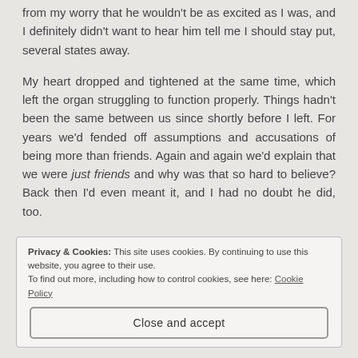from my worry that he wouldn't be as excited as I was, and I definitely didn't want to hear him tell me I should stay put, several states away.
My heart dropped and tightened at the same time, which left the organ struggling to function properly. Things hadn't been the same between us since shortly before I left. For years we'd fended off assumptions and accusations of being more than friends. Again and again we'd explain that we were just friends and why was that so hard to believe? Back then I'd even meant it, and I had no doubt he did, too.
Privacy & Cookies: This site uses cookies. By continuing to use this website, you agree to their use. To find out more, including how to control cookies, see here: Cookie Policy
Close and accept